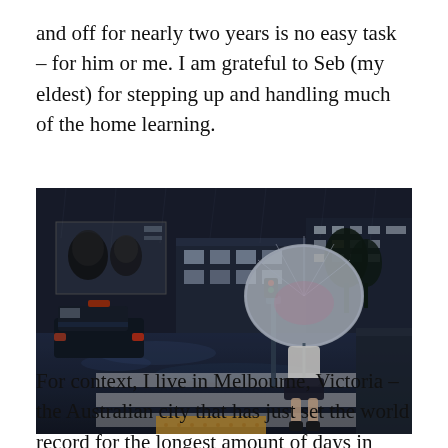and off for nearly two years is no easy task – for him or me. I am grateful to Seb (my eldest) for stepping up and handling much of the home learning.
[Figure (photo): A rainy night street scene in a Japanese city (likely Tokyo Shibuya). A woman holding a translucent umbrella stands at a pedestrian crossing with yellow tactile paving. Illuminated billboards and buildings are visible in the background. A dark taxi is parked on the wet road.]
For context, I live in Melbourne, Victoria – the Australian city that has just set the world record for the longest amount of days in lockdown since the pandemic began